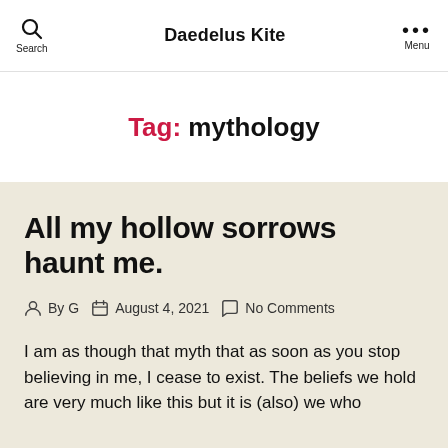Search  Daedelus Kite  Menu
Tag: mythology
All my hollow sorrows haunt me.
By G  August 4, 2021  No Comments
I am as though that myth that as soon as you stop believing in me, I cease to exist. The beliefs we hold are very much like this but it is (also) we who